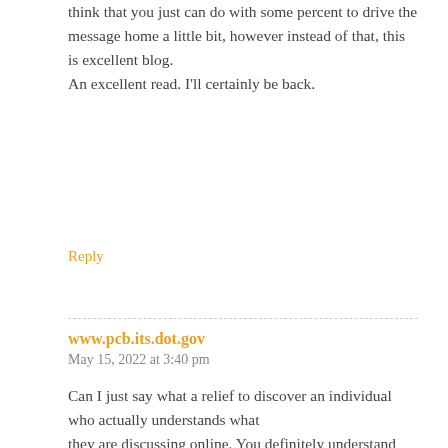think that you just can do with some percent to drive the message home a little bit, however instead of that, this is excellent blog.
An excellent read. I'll certainly be back.
Reply
www.pcb.its.dot.gov
May 15, 2022 at 3:40 pm
Can I just say what a relief to discover an individual who actually understands what they are discussing online. You definitely understand how to bring a problem to light and make it important. More and more people should check this out and understand this side of the story. I was surprised you are not